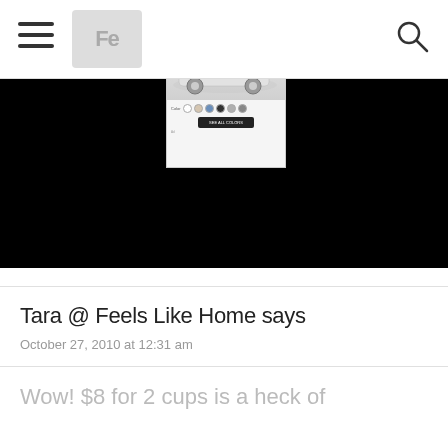Navigation bar with hamburger menu, logo, and search icon
[Figure (advertisement): Volvo XC40 Recharge Pure Electric advertisement with car image and color selector]
Tara @ Feels Like Home says
October 27, 2010 at 12:31 am
Wow! $8 for 2 cups is a heck of